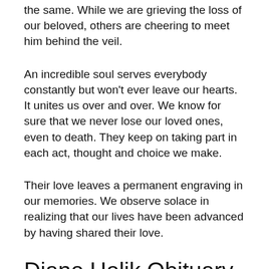the same. While we are grieving the loss of our beloved, others are cheering to meet him behind the veil.
An incredible soul serves everybody constantly but won't ever leave our hearts. It unites us over and over. We know for sure that we never lose our loved ones, even to death. They keep on taking part in each act, thought and choice we make.
Their love leaves a permanent engraving in our memories. We observe solace in realizing that our lives have been advanced by having shared their love.
Diane Holik Obituary